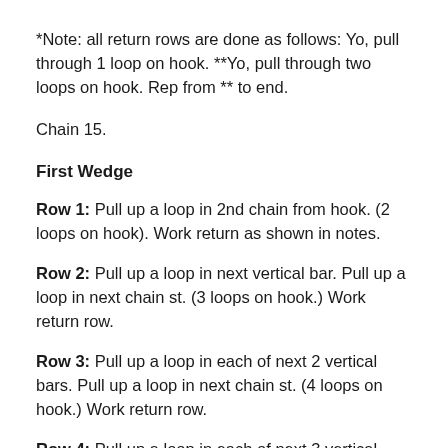*Note: all return rows are done as follows: Yo, pull through 1 loop on hook. **Yo, pull through two loops on hook. Rep from ** to end.
Chain 15.
First Wedge
Row 1: Pull up a loop in 2nd chain from hook. (2 loops on hook). Work return as shown in notes.
Row 2: Pull up a loop in next vertical bar. Pull up a loop in next chain st. (3 loops on hook.) Work return row.
Row 3: Pull up a loop in each of next 2 vertical bars. Pull up a loop in next chain st. (4 loops on hook.) Work return row.
Row 4: Pull up a loop in each of next 3 vertical bars. Pull up a loop in next chain st. (5 loops on